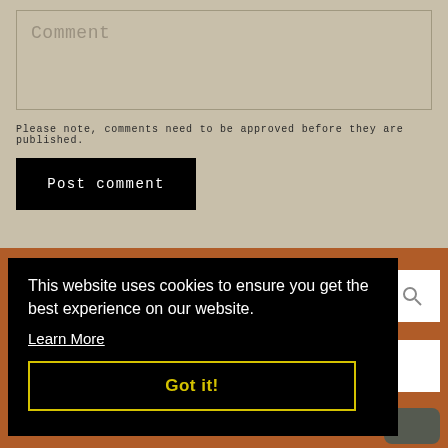Comment
Please note, comments need to be approved before they are published.
Post comment
This website uses cookies to ensure you get the best experience on our website. Learn More
Got it!